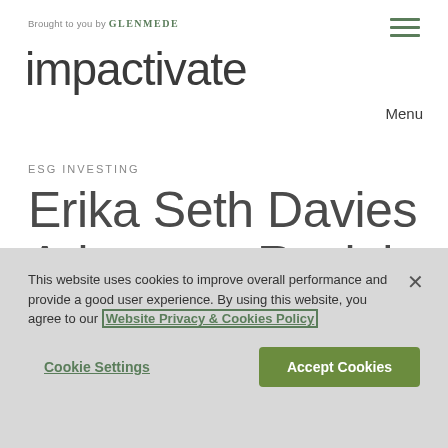Brought to you by GLENMEDE
impactivate
ESG INVESTING
Erika Seth Davies Advances Racial Equity in Asset Management
This website uses cookies to improve overall performance and provide a good user experience. By using this website, you agree to our Website Privacy & Cookies Policy
Cookie Settings
Accept Cookies